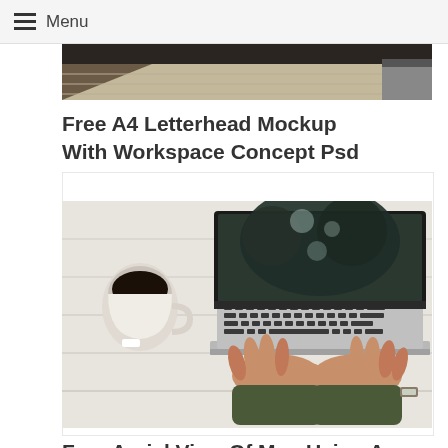Menu
[Figure (photo): Partial view of a dark workspace photo cropped at top of page]
Free A4 Letterhead Mockup With Workspace Concept Psd
Free
[Figure (photo): Aerial view of a person typing on a MacBook laptop on a white wooden desk with a coffee cup to the left]
Free Aerial View Of Man Using A Computer